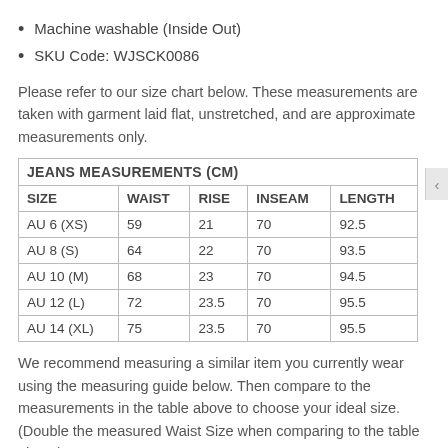Machine washable (Inside Out)
SKU Code: WJSCK0086
Please refer to our size chart below. These measurements are taken with garment laid flat, unstretched, and are approximate measurements only.
| SIZE | WAIST | RISE | INSEAM | LENGTH |
| --- | --- | --- | --- | --- |
| AU 6 (XS) | 59 | 21 | 70 | 92.5 |
| AU 8 (S) | 64 | 22 | 70 | 93.5 |
| AU 10 (M) | 68 | 23 | 70 | 94.5 |
| AU 12 (L) | 72 | 23.5 | 70 | 95.5 |
| AU 14 (XL) | 75 | 23.5 | 70 | 95.5 |
We recommend measuring a similar item you currently wear using the measuring guide below. Then compare to the measurements in the table above to choose your ideal size. (Double the measured Waist Size when comparing to the table above).